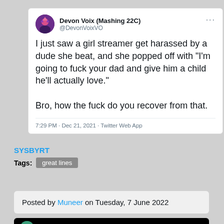[Figure (screenshot): Tweet from Devon Voix (Mashing 22C) @DevonVoixVO with avatar and text about a girl streamer]
I just saw a girl streamer get harassed by a dude she beat, and she popped off with "I'm going to fuck your dad and give him a child he'll actually love."

Bro, how the fuck do you recover from that.
7:29 PM · Dec 21, 2021 · Twitter Web App
SYSBYRT
Tags: great lines
Posted by Muneer on Tuesday, 7 June 2022
[Figure (screenshot): Partial Shannon Miller tweet card with dark background]